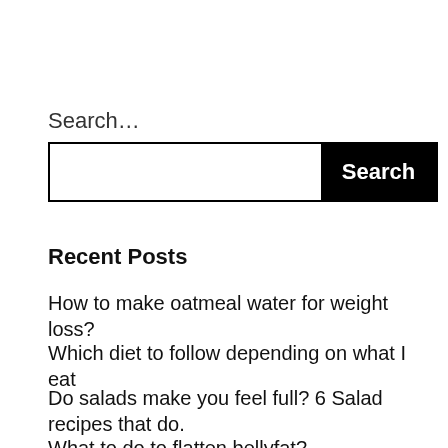Search…
[Figure (screenshot): Search bar with white input field and black Search button]
Recent Posts
How to make oatmeal water for weight loss?
Which diet to follow depending on what I eat
Do salads make you feel full? 6 Salad recipes that do.
What to do to flatten bellyfat?